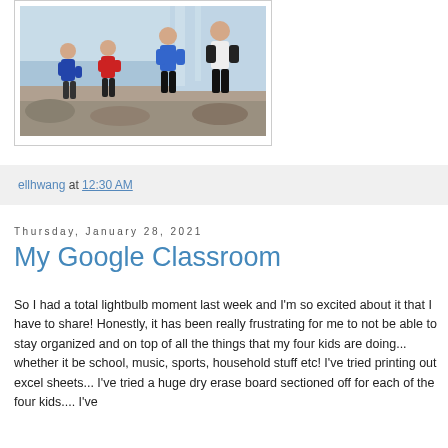[Figure (photo): Four children posing playfully outdoors near a rocky waterfall/river area, wearing casual winter clothing]
ellhwang at 12:30 AM
Thursday, January 28, 2021
My Google Classroom
So I had a total lightbulb moment last week and I'm so excited about it that I have to share! Honestly, it has been really frustrating for me to not be able to stay organized and on top of all the things that my four kids are doing... whether it be school, music, sports, household stuff etc! I've tried printing out excel sheets... I've tried a huge dry erase board sectioned off for each of the four kids.... I've